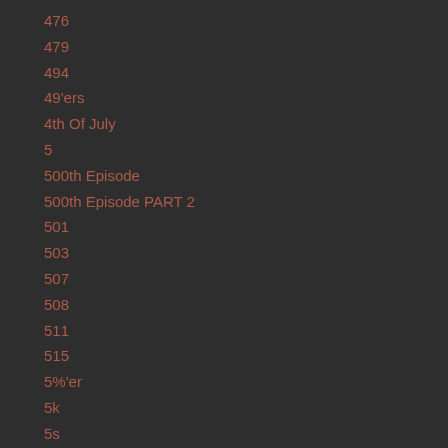476
479
494
49'ers
4th Of July
5
500th Episode
500th Episode PART 2
501
503
507
508
511
515
5%'er
5k
5s
70
700 Documetns
7-11
777